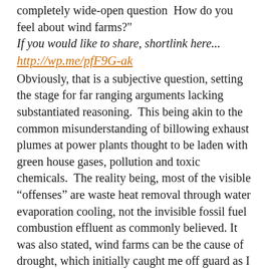completely wide-open question  How do you feel about wind farms?"
If you would like to share, shortlink here...
http://wp.me/pfF9G-ak
Obviously, that is a subjective question, setting the stage for far ranging arguments lacking substantiated reasoning.  This being akin to the common misunderstanding of billowing exhaust plumes at power plants thought to be laden with green house gases, pollution and toxic chemicals.  The reality being, most of the visible “offenses” are waste heat removal through water evaporation cooling, not the invisible fossil fuel combustion effluent as commonly believed. It was also stated, wind farms can be the cause of drought, which initially caught me off guard as I have lived and breathed water issues the past 20 years and it is a major determinant in my self assessed classification as “A Westerner”